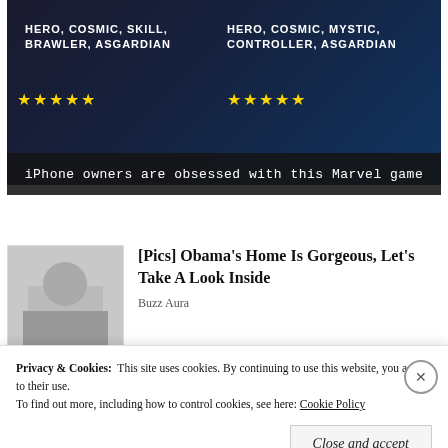[Figure (screenshot): Advertisement banner for a Marvel mobile game showing hero characters with star ratings. Left side: 'HERO, COSMIC, SKILL, BRAWLER, ASGARDIAN' with 5 gold stars. Right side: 'HERO, COSMIC, MYSTIC, CONTROLLER, ASGARDIAN' with 5 gold stars. Dark space-themed background.]
iPhone owners are obsessed with this Marvel game
[Figure (photo): Thumbnail photo of people, associated with Obama's Home article]
[Pics] Obama's Home Is Gorgeous, Let's Take A Look Inside
Buzz Aura
[Figure (photo): Thumbnail photo associated with Robert Bedford article]
[Pics] Robert Bedford Is Nearing 90
Privacy & Cookies:  This site uses cookies. By continuing to use this website, you agree to their use.
To find out more, including how to control cookies, see here: Cookie Policy
Close and accept